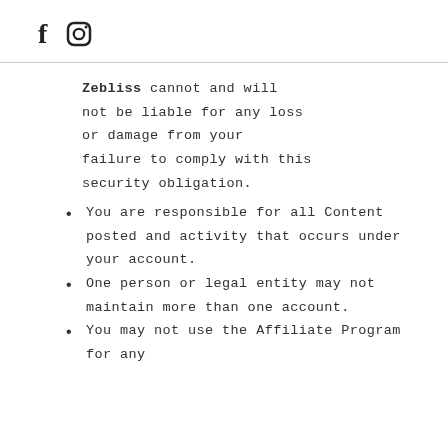f [instagram icon]
Zebliss cannot and will not be liable for any loss or damage from your failure to comply with this security obligation.
You are responsible for all Content posted and activity that occurs under your account.
One person or legal entity may not maintain more than one account.
You may not use the Affiliate Program for any